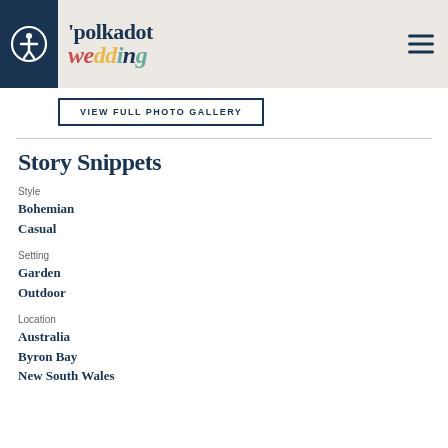polkadot wedding
VIEW FULL PHOTO GALLERY
Story Snippets
Style
Bohemian
Casual
Setting
Garden
Outdoor
Location
Australia
Byron Bay
New South Wales